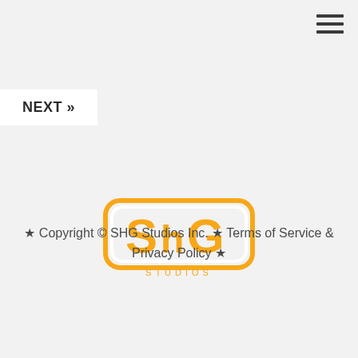[Figure (logo): SHG Studios logo - orange rounded rectangle badge with 'SHG' lettering in bold orange with white outline, 'STUDIOS' text below in spaced orange letters]
★ Copyright © SHG Studios Inc. ★ Terms of Service & Privacy Policy ★
NEXT »